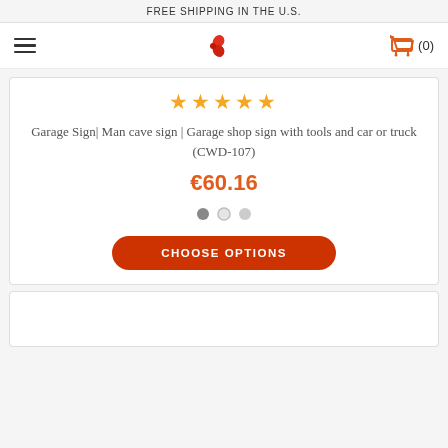FREE SHIPPING IN THE U.S.
[Figure (logo): Red pinwheel/shuriken logo in center of navigation bar, hamburger menu icon on left, shopping cart with (0) on right]
★★★★★
Garage Sign| Man cave sign | Garage shop sign with tools and car or truck (CWD-107)
€60.16
[Figure (other): Three carousel indicator dots: first filled dark, second and third lighter]
CHOOSE OPTIONS
[Figure (other): Second product card, partially visible at bottom of page, content not visible]